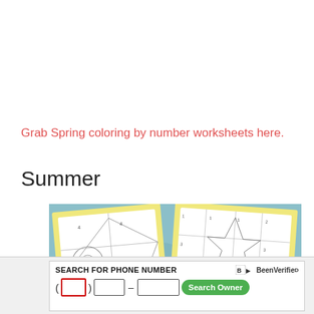Grab Spring coloring by number worksheets here.
Summer
[Figure (illustration): Summer Color by Numbers worksheet preview showing two coloring pages with numbered sections on a teal dotted background, with a red banner reading 'Summer Color by Numbers']
[Figure (screenshot): BeenVerified advertisement: 'Search for Phone Number' with area code input (red border), exchange input, number input, and green 'Search Owner' button]